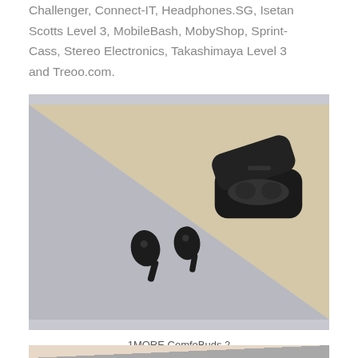Challenger, Connect-IT, Headphones.SG, Isetan Scotts Level 3, MobileBash, MobyShop, Sprint-Cass, Stereo Electronics, Takashimaya Level 3 and Treoo.com.
[Figure (photo): 1MORE ComfoBuds 2 wireless earbuds shown outside their charging case, with the charging case open in the upper right, against a two-tone cream and grey background.]
1MORE ComfoBuds 2
[Figure (photo): Partial view of a second product photo, showing what appears to be a light-colored product against a grey background, cropped at the bottom of the page.]